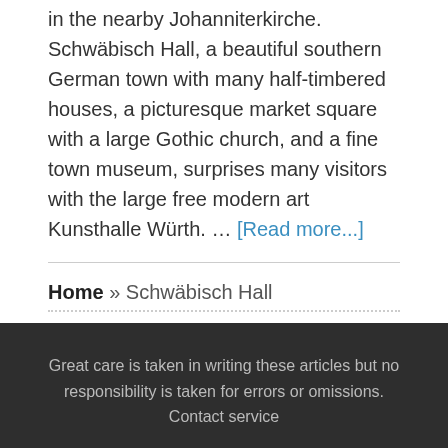in the nearby Johanniterkirche. Schwäbisch Hall, a beautiful southern German town with many half-timbered houses, a picturesque market square with a large Gothic church, and a fine town museum, surprises many visitors with the large free modern art Kunsthalle Würth. … [Read more...]
Home » Schwäbisch Hall
Great care is taken in writing these articles but no responsibility is taken for errors or omissions. Contact service